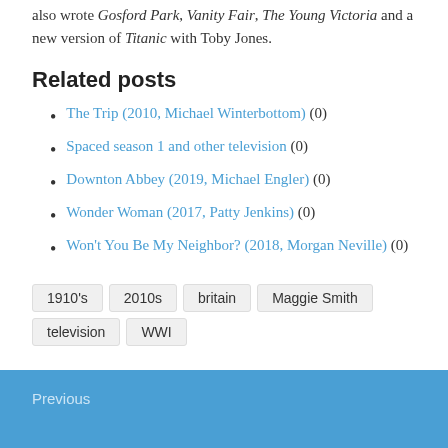also wrote Gosford Park, Vanity Fair, The Young Victoria and a new version of Titanic with Toby Jones.
Related posts
The Trip (2010, Michael Winterbottom) (0)
Spaced season 1 and other television (0)
Downton Abbey (2019, Michael Engler) (0)
Wonder Woman (2017, Patty Jenkins) (0)
Won't You Be My Neighbor? (2018, Morgan Neville) (0)
1910's  2010s  britain  Maggie Smith  television  WWI
Previous